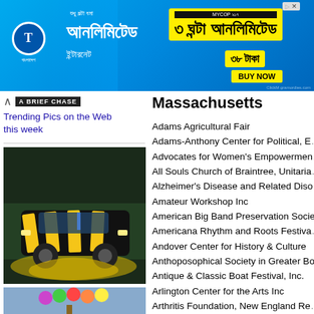[Figure (photo): Advertisement banner in Bengali language for mobile data plan, blue background with yellow promotional box showing '৩ ঘণ্টা আনলিমিটেড' and '৩৮ টাকা', with BUY NOW button]
Trending Pics on the Web this week
[Figure (photo): Photo of a car painted with black and yellow stripes with artistic street painting around it]
This is National Revenge Parking Month, Yay!
Massachusetts
Adams Agricultural Fair
Adams-Anthony Center for Political, E…
Advocates for Women's Empowerment…
All Souls Church of Braintree, Unitaria…
Alzheimer's Disease and Related Diso…
Amateur Workshop Inc
American Big Band Preservation Socie…
Americana Rhythm and Roots Festiva…
Andover Center for History & Culture
Anthoposophical Society in Greater Bo…
Antique & Classic Boat Festival, Inc.
Arlington Center for the Arts Inc
Arthritis Foundation, New England Re…
Arts League of Lowell
Assabet Valley Mastersingers Inc
Bay Players, Inc.
Becker College
Beers For Good and the City of Fitchb…
Belleville Roots Music Series